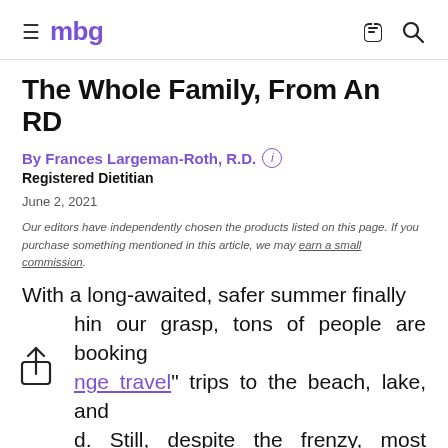mbg
The Whole Family, From An RD
By Frances Largeman-Roth, R.D.
Registered Dietitian
June 2, 2021
Our editors have independently chosen the products listed on this page. If you purchase something mentioned in this article, we may earn a small commission.
With a long-awaited, safer summer finally within our grasp, tons of people are booking "revenge travel" trips to the beach, lake, and beyond. Still, despite the frenzy, most families